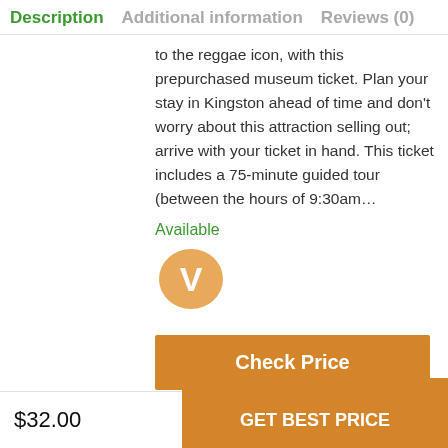Description   Additional information   Reviews (0)
to the reggae icon, with this prepurchased museum ticket. Plan your stay in Kingston ahead of time and don't worry about this attraction selling out; arrive with your ticket in hand. This ticket includes a 75-minute guided tour (between the hours of 9:30am…
Available
[Figure (logo): Vendor logo: orange speech-bubble shape with white letter V]
Check Price
Bob Marley Museum Jamaica Open Times
$32.00
GET BEST PRICE